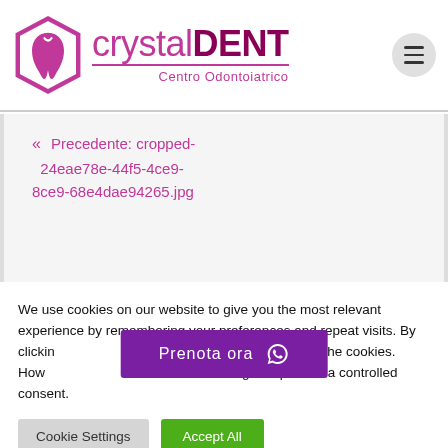[Figure (logo): crystalDENT Centro Odontoiatrico logo with pink hexagonal tooth icon]
« Precedente: cropped-24eae78e-44f5-4ce9-8ce9-68e4dae94265.jpg
We use cookies on our website to give you the most relevant experience by remembering your preferences and repeat visits. By clicking "Accept All", you consent to the use of ALL the cookies. However, you may visit "Cookie Settings" to provide a controlled consent.
Prenota ora
Cookie Settings
Accept All